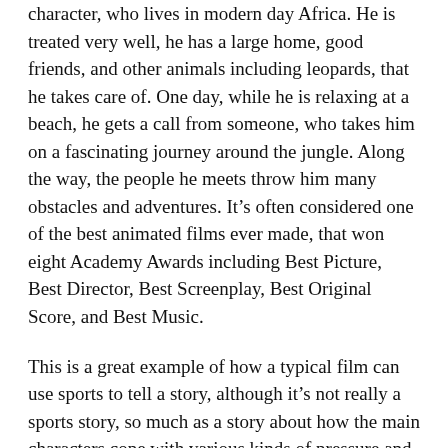character, who lives in modern day Africa. He is treated very well, he has a large home, good friends, and other animals including leopards, that he takes care of. One day, while he is relaxing at a beach, he gets a call from someone, who takes him on a fascinating journey around the jungle. Along the way, the people he meets throw him many obstacles and adventures. It's often considered one of the best animated films ever made, that won eight Academy Awards including Best Picture, Best Director, Best Screenplay, Best Original Score, and Best Music.
This is a great example of how a typical film can use sports to tell a story, although it's not really a sports story, so much as a story about how the main characters cope with various kinds of pressure and situations. It's often considered one of the greatest sports movies ever made, and the sports elements are very real. It tells the story of what the athletes do during the course of a competition, which often involves them participating in a variety of events, all of which are meant to test their mettle. In this sense it's more of a novel than a sports